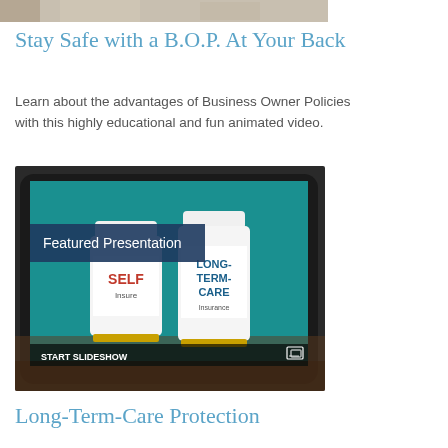[Figure (photo): Partial top image cropped at the top of the page showing a blurred indoor scene]
Stay Safe with a B.O.P. At Your Back
Learn about the advantages of Business Owner Policies with this highly educational and fun animated video.
[Figure (screenshot): Featured Presentation slideshow thumbnail showing a tablet displaying two prescription bottles labeled 'SELF Insure' and 'LONG-TERM-CARE Insurance' on a teal background, with 'START SLIDESHOW' text and a slideshow icon at the bottom]
Long-Term-Care Protection